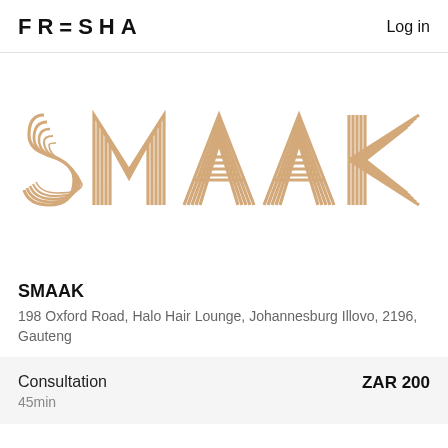FRESHA   Log in
[Figure (logo): SMAAK logo in decorative striped/outlined tan/gold lettering on white background]
SMAAK
198 Oxford Road, Halo Hair Lounge, Johannesburg Illovo, 2196, Gauteng
| Service | Price |
| --- | --- |
| Consultation
45min | ZAR 200 |